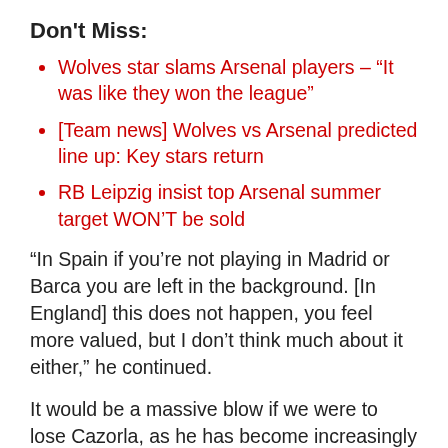Don't Miss:
Wolves star slams Arsenal players – “It was like they won the league”
[Team news] Wolves vs Arsenal predicted line up: Key stars return
RB Leipzig insist top Arsenal summer target WON’T be sold
“In Spain if you’re not playing in Madrid or Barca you are left in the background. [In England] this does not happen, you feel more valued, but I don’t think much about it either,” he continued.
It would be a massive blow if we were to lose Cazorla, as he has become increasingly important to the way we play. His ability to retain possession in tight areas and start attacks from deep have seen him thrive in his new role, and we arguably have no one else able to fill the position